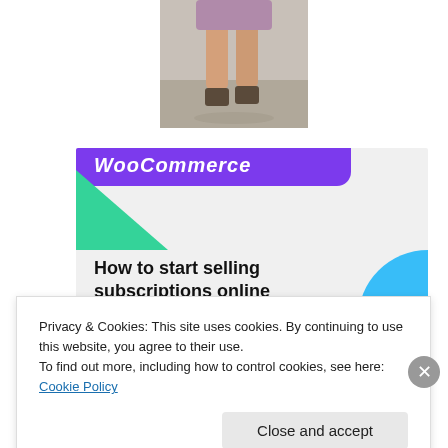[Figure (photo): Cropped photo of a person's legs wearing high heels on a fashion runway, grey background]
[Figure (screenshot): WooCommerce promotional banner with purple top bar showing 'WooCommerce' logo, green triangle shape, blue quarter-circle, and bold text 'How to start selling subscriptions online']
Privacy & Cookies: This site uses cookies. By continuing to use this website, you agree to their use.
To find out more, including how to control cookies, see here: Cookie Policy
Close and accept